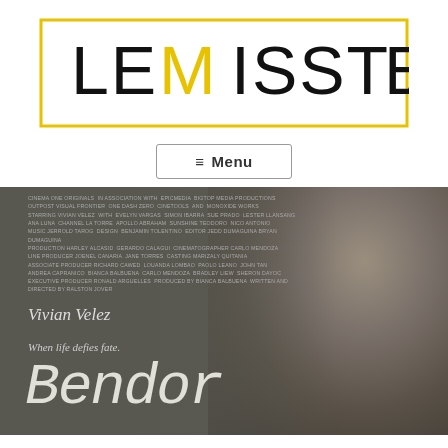[Figure (logo): LeMisst Ache logo with yellow M and rectangular border]
≡ Menu
[Figure (photo): Movie poster for 'Bendor' featuring Vivian Velez. Tagline: When life defies fate. Credits include Cinema One Originals, Epicmedia, Bigtop Media Productions, directed by Ralston Jover, produced by Bianca Balbuena.]